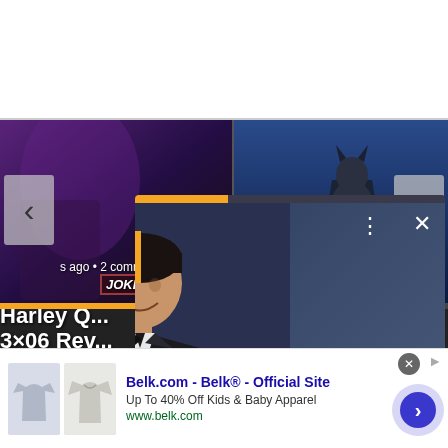[Figure (screenshot): Website screenshot showing a carousel with two thumbnails: left shows Harley Quinn / Joker themed image, right shows Batman figure. Navigation arrows on sides. Article titles overlaid.]
s ago • 2 comments
7 days ago • 2 comme
Harley Q... 3×06 Rev... Like Jok...
[Figure (photo): Popup card overlaying the page showing a man in a black tuxedo with bow tie, smiling, against a dark blue geometric background (appears to be an awards show setting). Has a three-dot menu, X close button, and orange arrow button.]
Batman News
Stay on topic. N... jerk and please...
Belk.com - Belk® - Official Site
Up To 40% Off Kids & Baby Apparel
www.belk.com